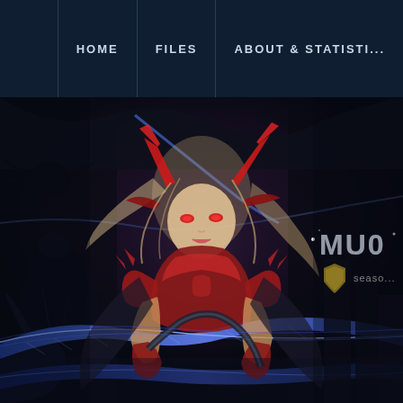HOME | FILES | ABOUT & STATISTICS
[Figure (illustration): Fantasy game website hero banner showing a female character in red demonic armor with blonde hair, red eyes, and curved horns, holding a large scythe-like weapon with blue energy. Dark dungeon environment. Logo text 'MUO' and 'season' visible in upper right.]